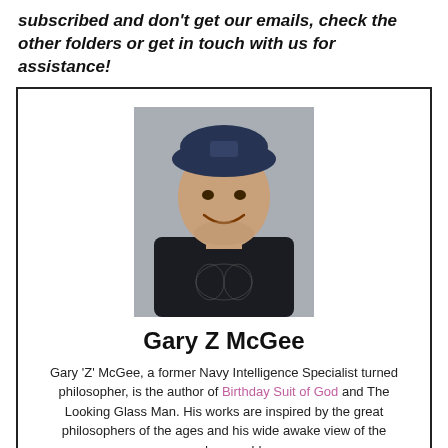subscribed and don't get our emails, check the other folders or get in touch with us for assistance!
[Figure (photo): Portrait photo of Gary Z McGee, a man wearing a dark cap and dark shirt, seated in a vehicle, smiling at the camera.]
Gary Z McGee
Gary 'Z' McGee, a former Navy Intelligence Specialist turned philosopher, is the author of Birthday Suit of God and The Looking Glass Man. His works are inspired by the great philosophers of the ages and his wide awake view of the modern world.